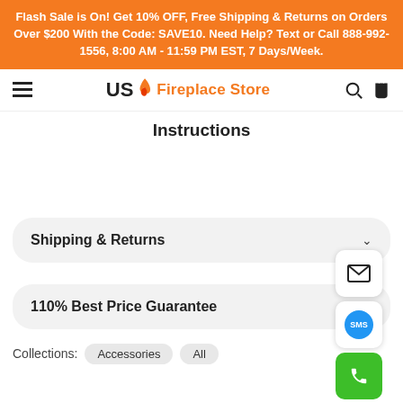Flash Sale is On! Get 10% OFF, Free Shipping & Returns on Orders Over $200 With the Code: SAVE10. Need Help? Text or Call 888-992-1556, 8:00 AM - 11:59 PM EST, 7 Days/Week.
[Figure (logo): US Fireplace Store logo with flame icon]
Instructions
Shipping & Returns
110% Best Price Guarantee
Collections: Accessories All